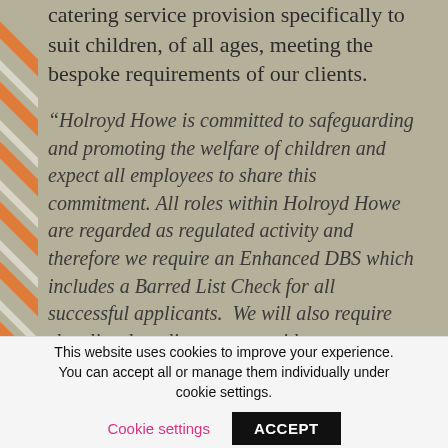catering service provision specifically to suit children, of all ages, meeting the bespoke requirements of our clients.
“Holroyd Howe is committed to safeguarding and promoting the welfare of children and expect all employees to share this commitment. All roles within Holroyd Howe are regarded as regulated activity and therefore we require an Enhanced DBS which includes a Barred List Check for all successful applicants. We will also require shortlisted applicants to provide
This website uses cookies to improve your experience. You can accept all or manage them individually under cookie settings.